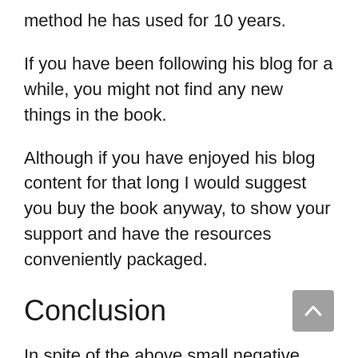method he has used for 10 years.
If you have been following his blog for a while, you might not find any new things in the book.
Although if you have enjoyed his blog content for that long I would suggest you buy the book anyway, to show your support and have the resources conveniently packaged.
Conclusion
In spite of the above small negative